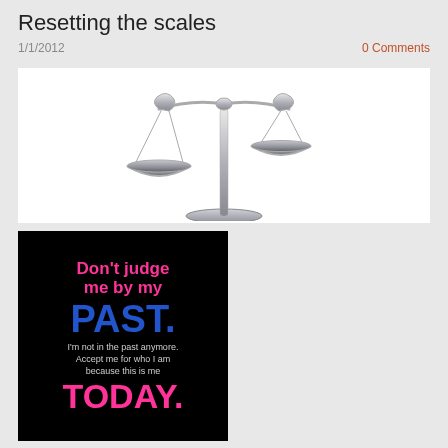Resetting the scales
1/1/2012
0 Comments
[Figure (illustration): Silver balance scales / scales of justice on white background, left pan lower than right pan]
[Figure (illustration): Black background motivational quote image: "Don't judge me by my PAST. I'm not in the past anymore. Accept me for who I am because this is me TODAY." in pink, blue, and grey text]